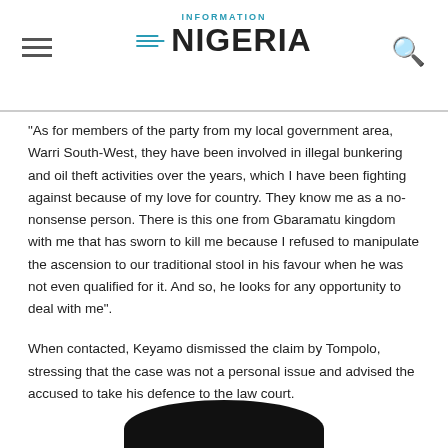Information Nigeria
“As for members of the party from my local government area, Warri South-West, they have been involved in illegal bunkering and oil theft activities over the years, which I have been fighting against because of my love for country. They know me as a no-nonsense person. There is this one from Gbaramatu kingdom with me that has sworn to kill me because I refused to manipulate the ascension to our traditional stool in his favour when he was not even qualified for it. And so, he looks for any opportunity to deal with me”.
When contacted, Keyamo dismissed the claim by Tompolo, stressing that the case was not a personal issue and advised the accused to take his defence to the law court.
[Figure (photo): Partial image of a person visible at the bottom of the page, dark background]